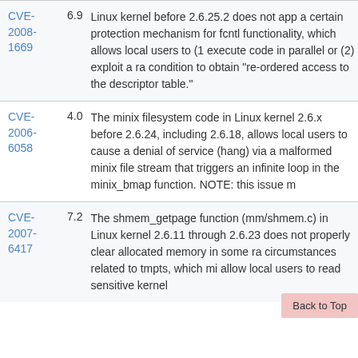| CVE ID | Score | Description |
| --- | --- | --- |
| CVE-2008-1669 | 6.9 | Linux kernel before 2.6.25.2 does not apply a certain protection mechanism for fcntl functionality, which allows local users to (1) execute code in parallel or (2) exploit a race condition to obtain "re-ordered access to the descriptor table." |
| CVE-2006-6058 | 4.0 | The minix filesystem code in Linux kernel 2.6.x before 2.6.24, including 2.6.18, allows local users to cause a denial of service (hang) via a malformed minix file stream that triggers an infinite loop in the minix_bmap function. NOTE: this issue m... |
| CVE-2007-6417 | 7.2 | The shmem_getpage function (mm/shmem.c) in Linux kernel 2.6.11 through 2.6.23 does not properly clear allocated memory in some race circumstances related to tmpfs, which may allow local users to read sensitive kernel... |